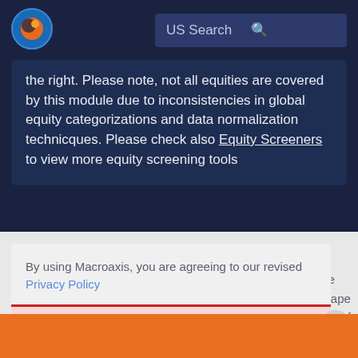[Figure (logo): Macroaxis globe logo — orange and blue sphere icon]
US Search
the right. Please note, not all equities are covered by this module due to inconsistencies in global equity categorizations and data normalization technicques. Please check also Equity Screeners to view more equity screening tools
By using Macroaxis, you are agreeing to our revised Privacy Policy
OK